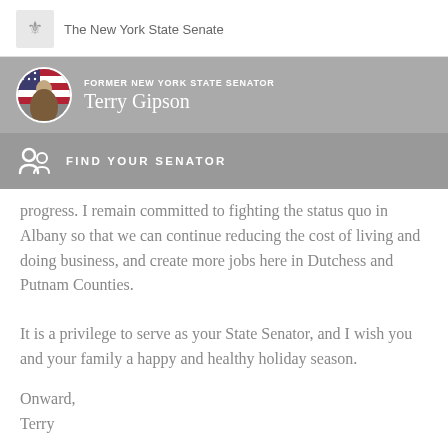The New York State Senate
FORMER NEW YORK STATE SENATOR Terry Gipson
FIND YOUR SENATOR
progress. I remain committed to fighting the status quo in Albany so that we can continue reducing the cost of living and doing business, and create more jobs here in Dutchess and Putnam Counties.
It is a privilege to serve as your State Senator, and I wish you and your family a happy and healthy holiday season.
Onward,
Terry